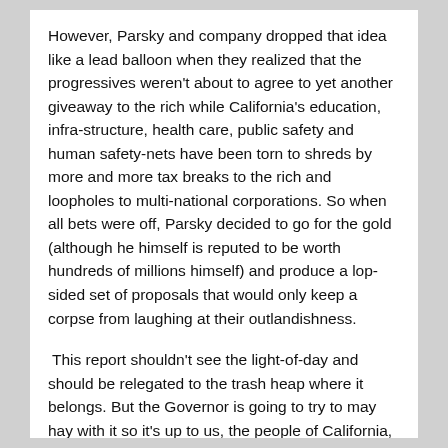However, Parsky and company dropped that idea like a lead balloon when they realized that the progressives weren't about to agree to yet another giveaway to the rich while California's education, infra-structure, health care, public safety and human safety-nets have been torn to shreds by more and more tax breaks to the rich and loopholes to multi-national corporations. So when all bets were off, Parsky decided to go for the gold (although he himself is reputed to be worth hundreds of millions himself) and produce a lop-sided set of proposals that would only keep a corpse from laughing at their outlandishness.
This report shouldn't see the light-of-day and should be relegated to the trash heap where it belongs. But the Governor is going to try to may hay with it so it's up to us, the people of California, upon whom the burden of giving away yet more to those who have the most already, must rise up. Taxes are supposed to be about fairness and investment in the programs and services that benefit the community.